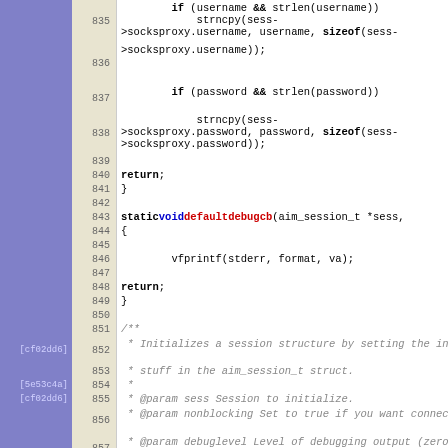[Figure (screenshot): Source code listing showing C code for session initialization functions, with line numbers 835-860, syntax highlighting (keywords bold, function names in red/blue), and version annotations in the left margin column ([cf02dd6], [5e53c4a]). Code includes strncpy calls, if-statements, return statements, function definitions for defaultdebugcb and aim_session_init, and Doxygen-style comments.]